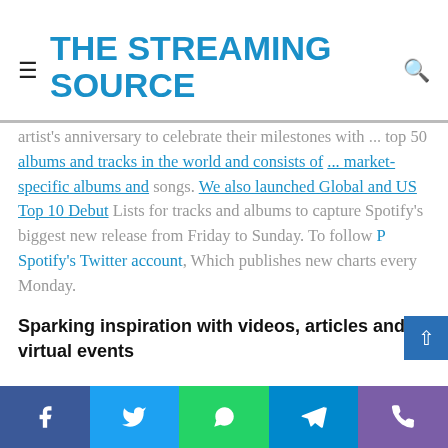THE STREAMING SOURCE
artist's anniversary to celebrate their milestones with ... top 50 ... albums and tracks in the world and consists of ... market-specific albums and songs. We also launched Global and US Top 10 Debut Lists for tracks and albums to capture Spotify's biggest new release from Friday to Sunday. To follow P Spotify's Twitter account, Which publishes new charts every Monday.
Sparking inspiration with videos, articles and virtual events
Better to know better, and our goal is to equip you with the information and insights you need to reach your goals. That's why we've created several video